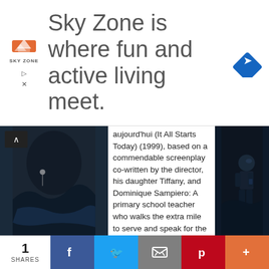[Figure (infographic): Sky Zone advertisement banner with logo on left, large text 'Sky Zone is where fun and active living meet.' in center, and blue diamond navigation icon on right]
aujourd'hui (It All Starts Today) (1999), based on a commendable screenplay co-written by the director, his daughter Tiffany, and Dominique Sampiero: A primary school teacher who walks the extra mile to serve and speak for the tiny tots raised by parents with marginal incomes
1 week ago
[Figure (photo): Black and white film still showing a child at a desk]
Passion for Movies
Composition Class [1938] – The Strengths and Inconveniences of Honesty
7 months ago
Scribblings of a Cinema-obsessed Mind
Devs (2020)
1 SHARES  [Facebook] [Twitter] [Email] [Pinterest] [More]